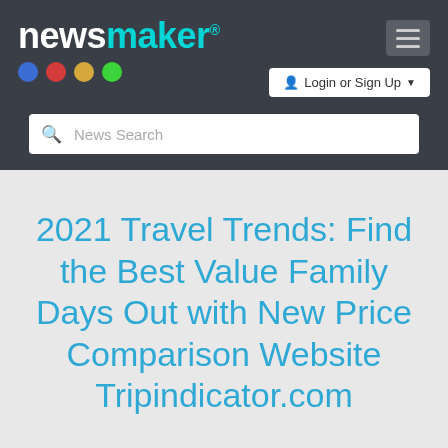newsmaker® [logo with colored dots, hamburger menu, Login or Sign Up button, News Search bar]
2021 Travel Trends: Find the Best Value Family Days Out with New Price Comparison Website Tripindicator.com